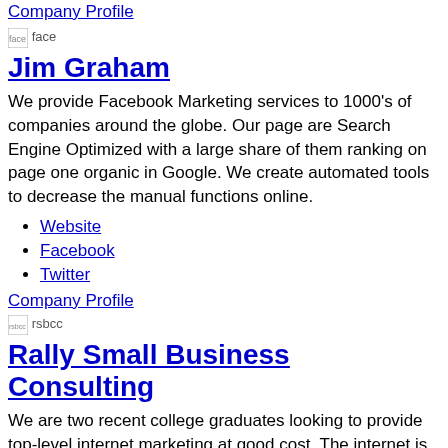Company Profile
[Figure (illustration): face icon image placeholder]
Jim Graham
We provide Facebook Marketing services to 1000's of companies around the globe. Our page are Search Engine Optimized with a large share of them ranking on page one organic in Google. We create automated tools to decrease the manual functions online.
Website
Facebook
Twitter
Company Profile
[Figure (illustration): rsbcc icon image placeholder]
Rally Small Business Consulting
We are two recent college graduates looking to provide top-level internet marketing at good cost. The internet is the great equalizer and we love nothing more than to see a our clients keeping pace with...